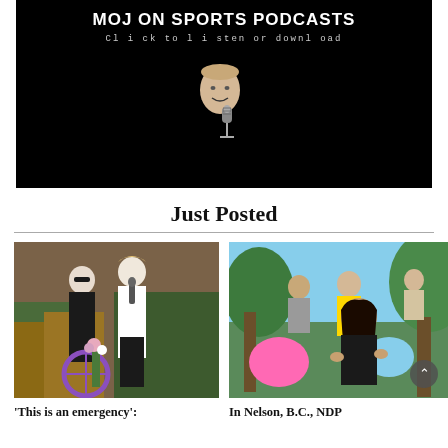[Figure (illustration): Black background podcast banner with title 'MOJ ON SPORTS PODCASTS', subtitle 'Click to listen or download', and a cartoon illustration of a bald man speaking into a microphone]
Just Posted
[Figure (photo): Two women at an outdoor event; one in black holding flowers, another in white speaking into a microphone; purple bicycle wheel visible in background]
'This is an emergency':
[Figure (photo): Group of people outdoors in a park setting; woman with dark hair in black top in foreground speaking, others behind her including person in yellow shirt]
In Nelson, B.C., NDP